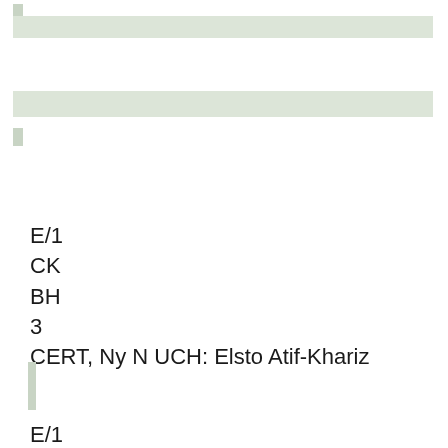E/1
CK
BH
3
CERT, Ny N UCH: Elsto Atif-Khariz
E/1
CK